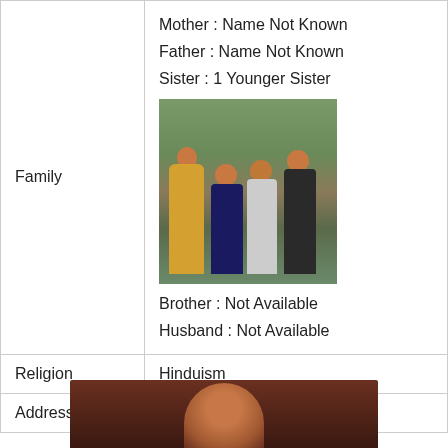|  |  |
| --- | --- |
| Family | Mother : Name Not Known
Father : Name Not Known
Sister : 1 Younger Sister
[photo]
Brother : Not Available
Husband : Not Available |
| Religion | Hinduism |
| Address | Mumbai, Maharashtra, India |
[Figure (photo): Family photo showing four people posing outdoors in a garden setting]
[Figure (photo): Partial photo at bottom of page showing a person]